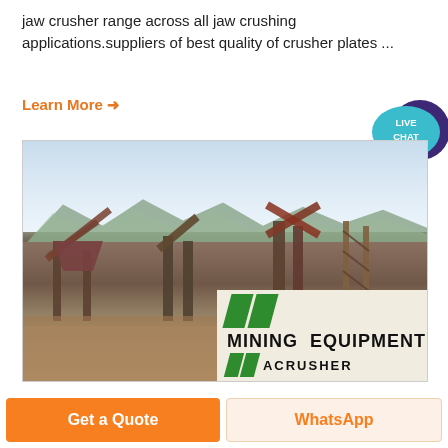jaw crusher range across all jaw crushing applications.suppliers of best quality of crusher plates ...
Learn More →
[Figure (photo): Mining and crushing equipment facility with large jaw crushers, conveyors, and industrial machinery at an outdoor mining site. A logo overlay in bottom-right reads 'MINING EQUIPMENT ACRUSHER' with green diagonal slash marks.]
Get a Quote
WhatsApp